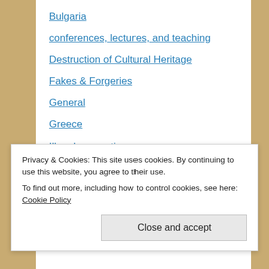Bulgaria
conferences, lectures, and teaching
Destruction of Cultural Heritage
Fakes & Forgeries
General
Greece
Illegal excavations
Italy
Metal detectoring
Protection
Selling of unprovenanced items
Privacy & Cookies: This site uses cookies. By continuing to use this website, you agree to their use. To find out more, including how to control cookies, see here: Cookie Policy